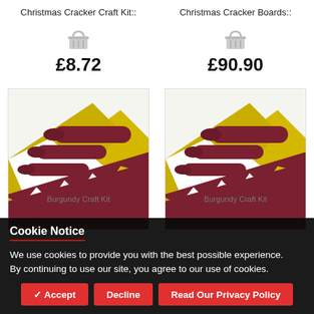Christmas Cracker Craft Kit::
Christmas Cracker Boards::
£8.72
£90.90
[Figure (photo): Christmas cracker craft kit product photo showing dark red cracker tubes and zigzag cut cardboard pieces with gold decorative paper]
[Figure (photo): Christmas cracker boards product photo showing dark red cracker tubes and zigzag cut cardboard pieces with gold decorative paper]
Cookie Notice
We use cookies to provide you with the best possible experience. By continuing to use our site, you agree to our use of cookies.
✓ Accept
Decline
Read Our Privacy Policy